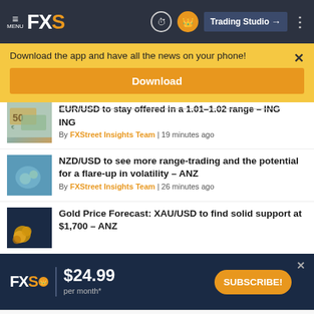MENU FXS | Trading Studio
Download the app and have all the news on your phone!
Download
EUR/USD to stay offered in a 1.01-1.02 range – ING
By FXStreet Insights Team | 19 minutes ago
NZD/USD to see more range-trading and the potential for a flare-up in volatility – ANZ
By FXStreet Insights Team | 26 minutes ago
Gold Price Forecast: XAU/USD to find solid support at $1,700 – ANZ
FXS | $24.99 per month* | SUBSCRIBE!
©2022 "FXStreet" All Rights Reserved    Disclaimer ▲